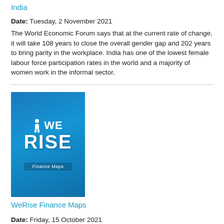India
Date: Tuesday, 2 November 2021
The World Economic Forum says that at the current rate of change, it will take 108 years to close the overall gender gap and 202 years to bring parity in the workplace. India has one of the lowest female labour force participation rates in the world and a majority of women work in the informal sector.
[Figure (illustration): Book cover for WeRise Finance Maps, blue background with WE RISE text and Finance Maps label]
WeRise Finance Maps
Date: Friday, 15 October 2021
The finance maps work much like a dating site for women entrepreneurs and finance providers. First, you open the finance map for your country. Second, simply fill out your profile, filter on what you are looking for and the map will list the finance providers that best match your business.